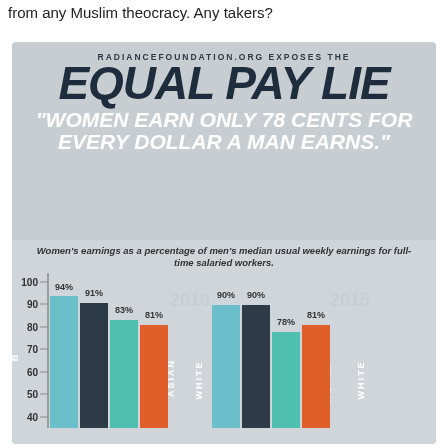from any Muslim theocracy. Any takers?
[Figure (infographic): Radiance Foundation infographic titled 'Equal Pay Lie' showing women's earnings as a percentage of men's median usual weekly earnings for full-time salaried workers, with grouped bar chart for 2010 and 2015 by race (Black, Hispanic, Asian, White).]
RADIANCEFOUNDATION.ORG EXPOSES THE
EQUAL PAY LIE
"WOMEN EARN ONLY 78 CENTS FOR EVERY DOLLAR A MAN EARNS."
Women's earnings as a percentage of men's median usual weekly earnings for full-time salaried workers.
[Figure (grouped-bar-chart): Women's earnings as a percentage of men's median usual weekly earnings for full-time salaried workers.]